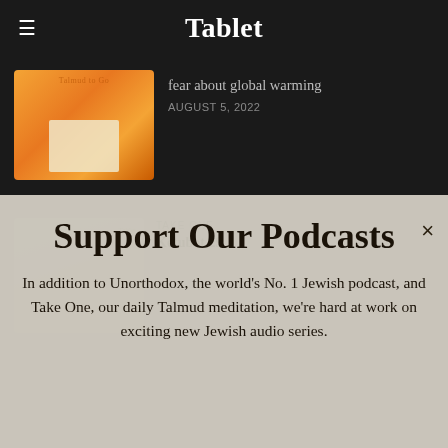Tablet
fear about global warming
AUGUST 5, 2022
Support Our Podcasts
In addition to Unorthodox, the world's No. 1 Jewish podcast, and Take One, our daily Talmud meditation, we're hard at work on exciting new Jewish audio series.
TAKE ONE
Ketubot 29
bastards
AUGUST 4, 2022
TAKE ONE
Support Tablet
In today's Talmud page, figuring